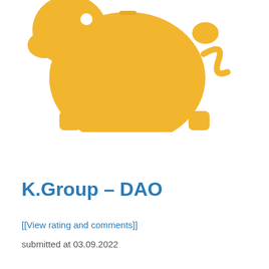[Figure (illustration): Golden/yellow piggy bank silhouette illustration centered at the top of the page]
K.Group – DAO
[[View rating and comments]]
submitted at 03.09.2022